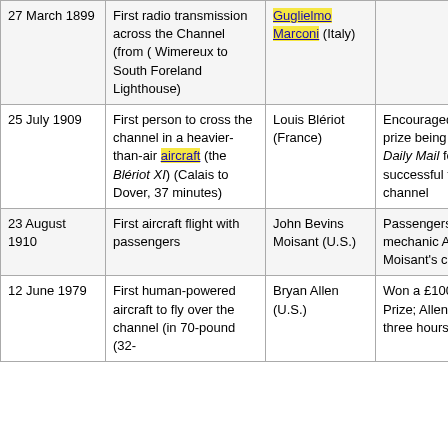| 27 March 1899 | First radio transmission across the Channel (from ( Wimereux to South Foreland Lighthouse) | Guglielmo Marconi (Italy) |  |
| 25 July 1909 | First person to cross the channel in a heavier-than-air aircraft (the Blériot XI) (Calais to Dover, 37 minutes) | Louis Blériot (France) | Encouraged by £1000 prize being offered by the Daily Mail for first successful flight across the channel |
| 23 August 1910 | First aircraft flight with passengers | John Bevins Moisant (U.S.) | Passengers were mechanic Albert Fileux and Moisant's cat. |
| 12 June 1979 | First human-powered aircraft to fly over the channel (in 70-pound (32- | Bryan Allen (U.S.) | Won a £100,000 Kremer Prize; Allen pedaled for three hours |